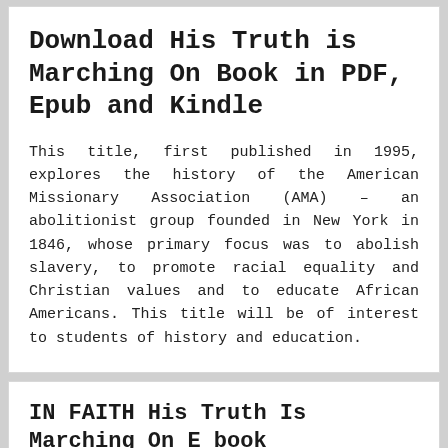Download His Truth is Marching On Book in PDF, Epub and Kindle
This title, first published in 1995, explores the history of the American Missionary Association (AMA) – an abolitionist group founded in New York in 1846, whose primary focus was to abolish slavery, to promote racial equality and Christian values and to educate African Americans. This title will be of interest to students of history and education.
IN FAITH His Truth Is Marching On E book